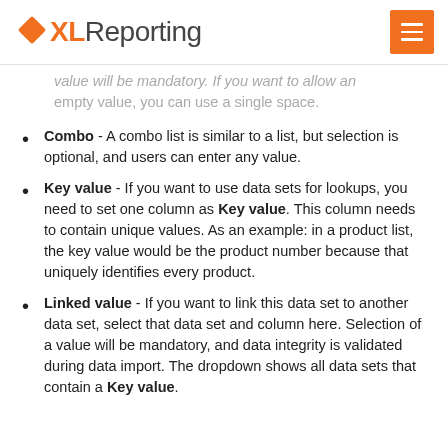XLReporting
value will be mandatory. If you want to allow an empty value, you can use a single space.
Combo - A combo list is similar to a list, but selection is optional, and users can enter any value.
Key value - If you want to use data sets for lookups, you need to set one column as Key value. This column needs to contain unique values. As an example: in a product list, the key value would be the product number because that uniquely identifies every product.
Linked value - If you want to link this data set to another data set, select that data set and column here. Selection of a value will be mandatory, and data integrity is validated during data import. The dropdown shows all data sets that contain a Key value.